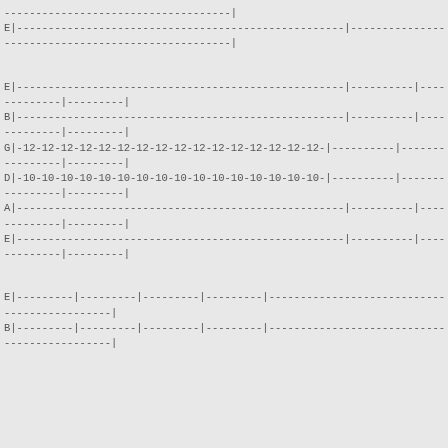Guitar tablature notation showing multiple measures with string notation (E, B, G, D, A, E strings) with fret numbers 12, 10 and dashes.